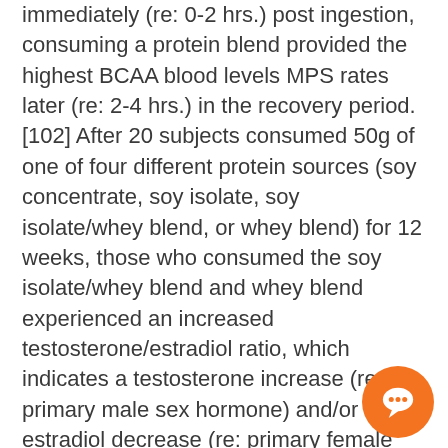immediately (re: 0-2 hrs.) post ingestion, consuming a protein blend provided the highest BCAA blood levels MPS rates later (re: 2-4 hrs.) in the recovery period. [102] After 20 subjects consumed 50g of one of four different protein sources (soy concentrate, soy isolate, soy isolate/whey blend, or whey blend) for 12 weeks, those who consumed the soy isolate/whey blend and whey blend experienced an increased testosterone/estradiol ratio, which indicates a testosterone increase (re: primary male sex hormone) and/or an estradiol decrease (re: primary female sex hormone). [103]
Popular protein blends include MTS Machine Whey Protein (Whey Isolate, Whey Concentrate); Beverly International Ultimate Muscle Protein (UMP) (Milk Protein Isolate, Calcium Caseinate, Whey Protein Concentrate, Casein, Egg W... Whey Protein Isolate); MusclePharm Combat Powder... Whey Protein Concentrate, Whey Protein Isolate, Whey Protein